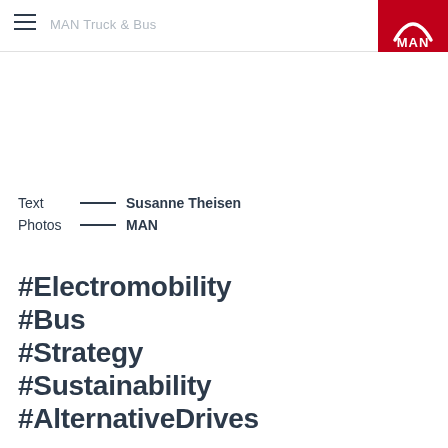MAN Truck & Bus
[Figure (logo): MAN logo on red background, top right corner]
Text — Susanne Theisen
Photos — MAN
#Electromobility
#Bus
#Strategy
#Sustainability
#AlternativeDrives